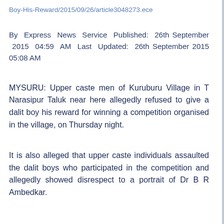Boy-His-Reward/2015/09/26/article3048273.ece
By Express News Service Published: 26th September 2015 04:59 AM Last Updated: 26th September 2015 05:08 AM
MYSURU: Upper caste men of Kuruburu Village in T Narasipur Taluk near here allegedly refused to give a dalit boy his reward for winning a competition organised in the village, on Thursday night.
It is also alleged that upper caste individuals assaulted the dalit boys who participated in the competition and allegedly showed disrespect to a portrait of Dr B R Ambedkar.